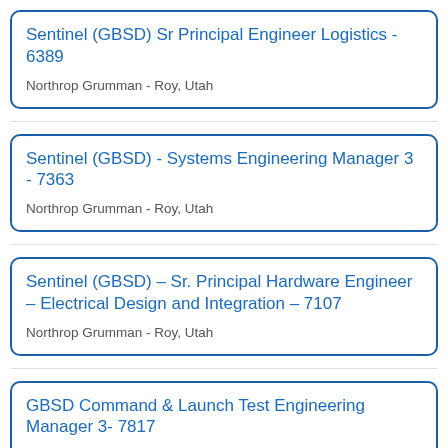Sentinel (GBSD) Sr Principal Engineer Logistics - 6389
Northrop Grumman - Roy, Utah
Sentinel (GBSD) - Systems Engineering Manager 3 - 7363
Northrop Grumman - Roy, Utah
Sentinel (GBSD) – Sr. Principal Hardware Engineer – Electrical Design and Integration – 7107
Northrop Grumman - Roy, Utah
GBSD Command & Launch Test Engineering Manager 3- 7817